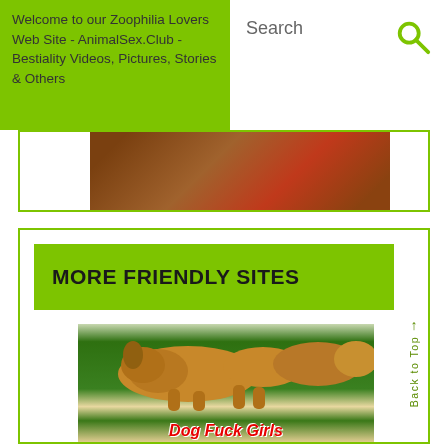Welcome to our Zoophilia Lovers Web Site - AnimalSex.Club - Bestiality Videos, Pictures, Stories & Others
[Figure (screenshot): Partial top card with brownish/red blurred image thumbnail]
MORE FRIENDLY SITES
[Figure (photo): Photo of dogs on green grass with red text overlay reading Dog Fuck Girls]
Back to Top ↑